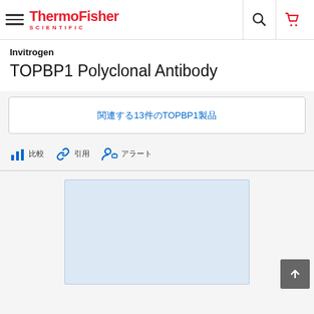ThermoFisher SCIENTIFIC
Invitrogen
TOPBP1 Polyclonal Antibody
関連する13件のTOPBP1製品
比較 引用 アラート
[Figure (other): Product image placeholder (light blue box)]